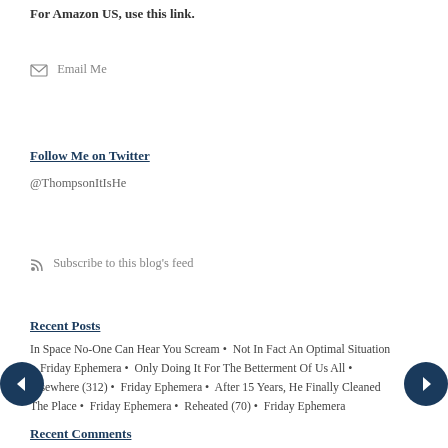For Amazon US, use this link.
✉ Email Me
Follow Me on Twitter
@ThompsonItIsHe
Subscribe to this blog's feed
Recent Posts
In Space No-One Can Hear You Scream • Not In Fact An Optimal Situation • Friday Ephemera • Only Doing It For The Betterment Of Us All • Elsewhere (312) • Friday Ephemera • After 15 Years, He Finally Cleaned The Place • Friday Ephemera • Reheated (70) • Friday Ephemera
Recent Comments